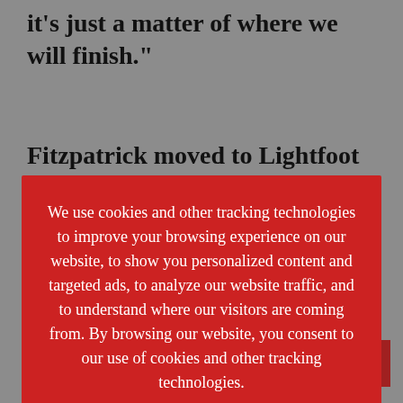it’s just a matter of where we will finish.”
Fitzpatrick moved to Lightfoot Green
[Figure (photo): Photo of rugby players’ legs in action on a grass field, showing striped socks in yellow/maroon and green colors]
Fitzpatrick in action last weekend against Huddersfield. Photo Credit: Mike Craig
We use cookies and other tracking technologies to improve your browsing experience on our website, to show you personalized content and targeted ads, to analyze our website traffic, and to understand where our visitors are coming from. By browsing our website, you consent to our use of cookies and other tracking technologies.
Accept
Read More